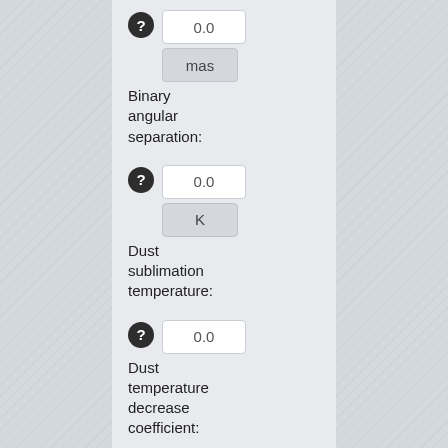Binary angular separation: 0.0 mas
Dust sublimation temperature: 0.0 K
Dust temperature decrease coefficient: 0.0
Shadowing flux: 0.0